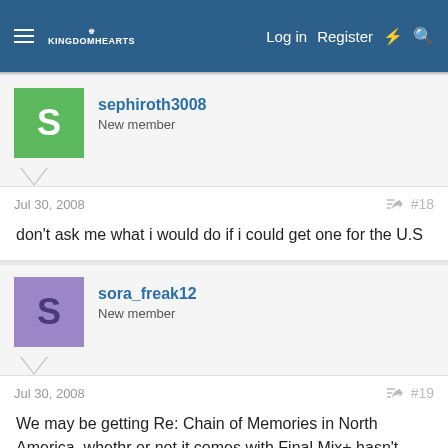Log in  Register
sephiroth3008
New member
Jul 30, 2008  #18
don't ask me what i would do if i could get one for the U.S
sora_freak12
New member
Jul 30, 2008  #19
We may be getting Re: Chain of Memories in North America, whethr or not it comes with Final Mix+ hasn't been announced yet. Since Final Mix is just a re-release, we probly won't get it. But since Re:CoM is like an entirely new Square-Enix project, we might get it.